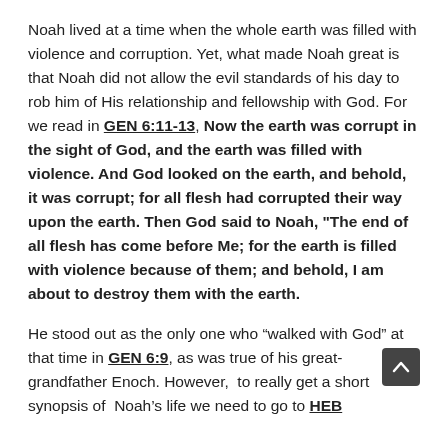Noah lived at a time when the whole earth was filled with violence and corruption. Yet, what made Noah great is that Noah did not allow the evil standards of his day to rob him of His relationship and fellowship with God. For we read in GEN 6:11-13, Now the earth was corrupt in the sight of God, and the earth was filled with violence. And God looked on the earth, and behold, it was corrupt; for all flesh had corrupted their way upon the earth. Then God said to Noah, "The end of all flesh has come before Me; for the earth is filled with violence because of them; and behold, I am about to destroy them with the earth.
He stood out as the only one who “walked with God” at that time in GEN 6:9, as was true of his great-grandfather Enoch. However, to really get a short synopsis of Noah’s life we need to go to HEB